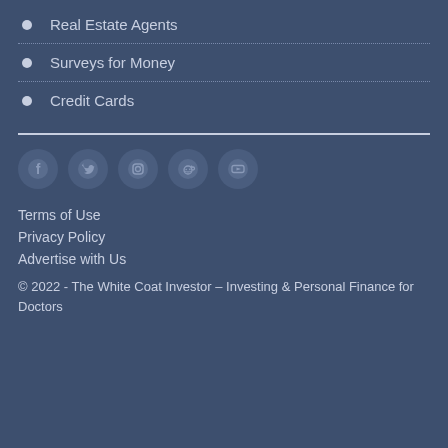Real Estate Agents
Surveys for Money
Credit Cards
[Figure (infographic): Social media icons row: Facebook, Twitter, Instagram, Reddit, YouTube — circular icons on dark blue background]
Terms of Use
Privacy Policy
Advertise with Us
© 2022 - The White Coat Investor – Investing & Personal Finance for Doctors